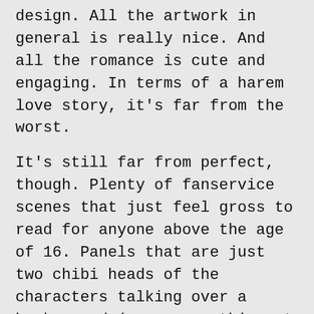design. All the artwork in general is really nice. And all the romance is cute and engaging. In terms of a harem love story, it's far from the worst.
It's still far from perfect, though. Plenty of fanservice scenes that just feel gross to read for anyone above the age of 16. Panels that are just two chibi heads of the characters talking over a background (or over nothing at all). Certain issues from the anime version were lifted directly from the source material.
It also feels really cramped sometimes.